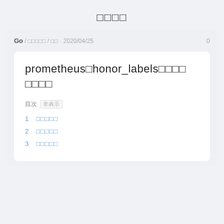□□□□
Go / □□□□□ / □□ · 2020/04/25    0
prometheus□honor_labels□□□□□□□□
目次 [非表示]
1 □□□□□
2 □□□□□
3 □□□□□